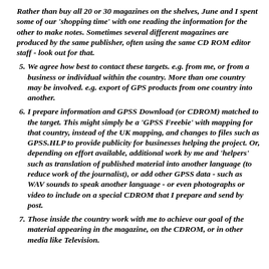Rather than buy all 20 or 30 magazines on the shelves, June and I spent some of our 'shopping time' with one reading the information for the other to make notes. Sometimes several different magazines are produced by the same publisher, often using the same CD ROM editor staff - look out for that.
5. We agree how best to contact these targets. e.g. from me, or from a business or individual within the country. More than one country may be involved. e.g. export of GPS products from one country into another.
6. I prepare information and GPSS Download (or CDROM) matched to the target. This might simply be a 'GPSS Freebie' with mapping for that country, instead of the UK mapping, and changes to files such as GPSS.HLP to provide publicity for businesses helping the project. Or, depending on effort available, additional work by me and 'helpers' such as translation of published material into another language (to reduce work of the journalist), or add other GPSS data - such as WAV sounds to speak another language - or even photographs or video to include on a special CDROM that I prepare and send by post.
7. Those inside the country work with me to achieve our goal of the material appearing in the magazine, on the CDROM, or in other media like Television.